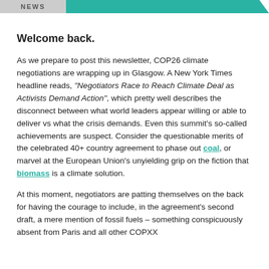NEWS
Welcome back.
As we prepare to post this newsletter, COP26 climate negotiations are wrapping up in Glasgow. A New York Times headline reads, “Negotiators Race to Reach Climate Deal as Activists Demand Action”, which pretty well describes the disconnect between what world leaders appear willing or able to deliver vs what the crisis demands. Even this summit’s so-called achievements are suspect. Consider the questionable merits of the celebrated 40+ country agreement to phase out coal, or marvel at the European Union’s unyielding grip on the fiction that biomass is a climate solution.
At this moment, negotiators are patting themselves on the back for having the courage to include, in the agreement’s second draft, a mere mention of fossil fuels – something conspicuously absent from Paris and all other COPXX